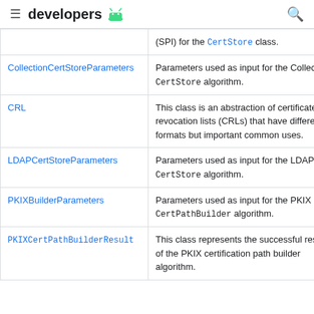developers
| Class | Description |
| --- | --- |
|  | (SPI) for the CertStore class. |
| CollectionCertStoreParameters | Parameters used as input for the Collection CertStore algorithm. |
| CRL | This class is an abstraction of certificate revocation lists (CRLs) that have different formats but important common uses. |
| LDAPCertStoreParameters | Parameters used as input for the LDAP CertStore algorithm. |
| PKIXBuilderParameters | Parameters used as input for the PKIX CertPathBuilder algorithm. |
| PKIXCertPathBuilderResult | This class represents the successful result of the PKIX certification path builder algorithm. |